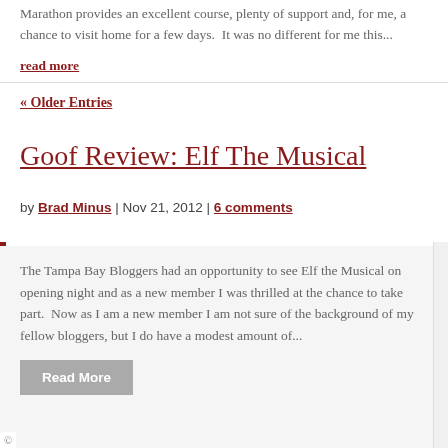Marathon provides an excellent course, plenty of support and, for me, a chance to visit home for a few days.  It was no different for me this...
read more
« Older Entries
Goof Review: Elf The Musical
by Brad Minus | Nov 21, 2012 | 6 comments
The Tampa Bay Bloggers had an opportunity to see Elf the Musical on opening night and as a new member I was thrilled at the chance to take part.  Now as I am a new member I am not sure of the background of my fellow bloggers, but I do have a modest amount of...
Read More